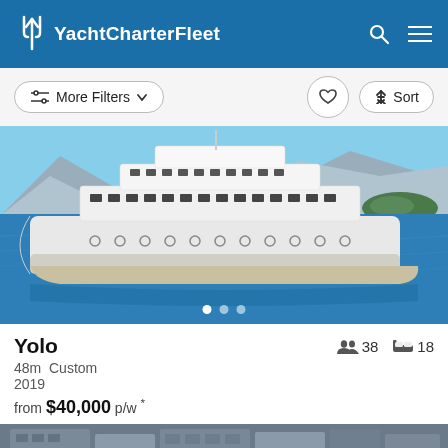YachtCharterFleet
More Filters  Sort
[Figure (photo): Large white luxury motor yacht named Yolo sailing on blue Mediterranean water with mountains and a small island in the background. Clear blue sky. Three image carousel dots visible at bottom.]
Yolo
38 guests  18 cabins
48m  Custom
2019
from $40,000 p/w *
[Figure (photo): Partially visible photo of another yacht or marina at the bottom of the page, cropped.]